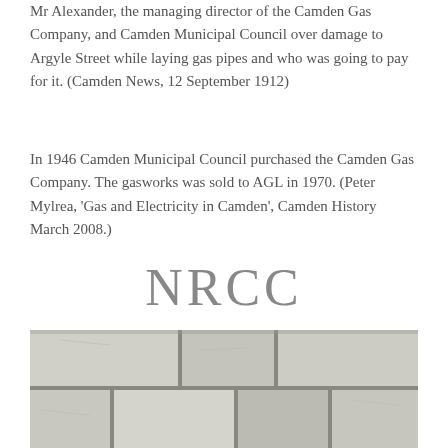Mr Alexander, the managing director of the Camden Gas Company, and Camden Municipal Council over damage to Argyle Street while laying gas pipes and who was going to pay for it. (Camden News, 12 September 1912)
In 1946 Camden Municipal Council purchased the Camden Gas Company. The gasworks was sold to AGL in 1970. (Peter Mylrea, 'Gas and Electricity in Camden', Camden History March 2008.)
NRCC
What is this cover for the NRCC? Does it still exist?
[Figure (photo): Close-up photograph of stone or concrete paving blocks with mortar joints, showing a weathered surface with grey and beige tones.]